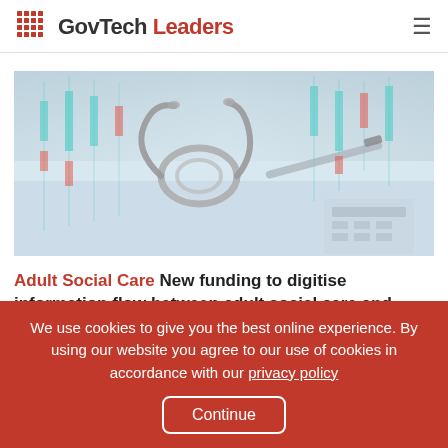GovTech Leaders
[Figure (photo): A stethoscope and pen on documents with financial chart overlays in teal and red, suggesting healthcare finance data]
Adult Social Care New funding to digitise information flow between adult social care and health settings
We use cookies to give you the best online experience. By using our website you agree to our use of cookies in accordance with our privacy policy Continue